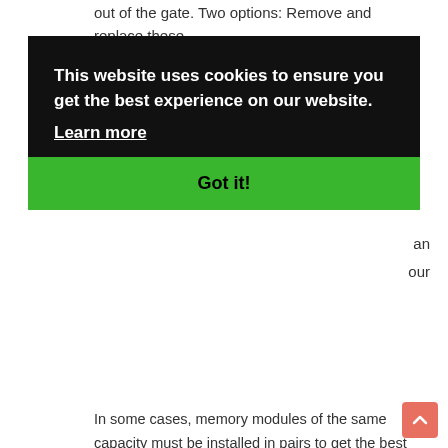out of the gate. Two options: Remove and replace these
[Figure (screenshot): Cookie consent overlay with dark background. Text reads: 'This website uses cookies to ensure you get the best experience on our website.' with a 'Learn more' link and a green 'Got it!' button. Partial text visible to the right: 'an' and 'our'.]
In some cases, memory modules of the same capacity must be installed in pairs to get the best performance from your system. Search for your system by name and model number with our memory finder, and we will provide detailed information on the best memory configuration to achieve the best performance for your system.
Kingston Support:
http://www.kingston.com/us/support/technical/search